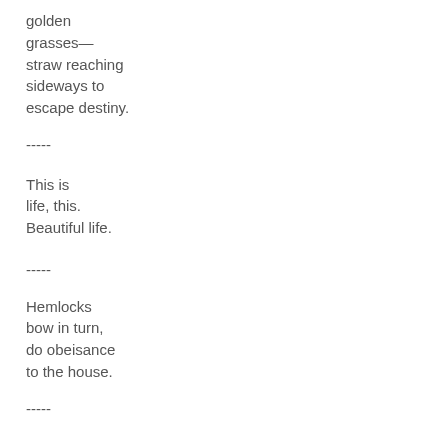golden
grasses—
straw reaching
sideways to
escape destiny.
-----
This is
life, this.
Beautiful life.
-----
Hemlocks
bow in turn,
do obeisance
to the house.
-----